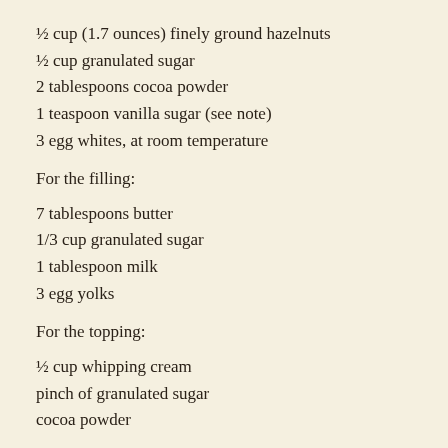½ cup (1.7 ounces) finely ground hazelnuts
½ cup granulated sugar
2 tablespoons cocoa powder
1 teaspoon vanilla sugar (see note)
3 egg whites, at room temperature
For the filling:
7 tablespoons butter
1/3 cup granulated sugar
1 tablespoon milk
3 egg yolks
For the topping:
½ cup whipping cream
pinch of granulated sugar
cocoa powder
1. Preheat oven to 350 degrees F. Cover a baking sheet with parchment paper. Trace two circles on the paper using a to 7-inch plate, or just draw the circles freehand.
2. To make the cake: In a large bowl, combine ground